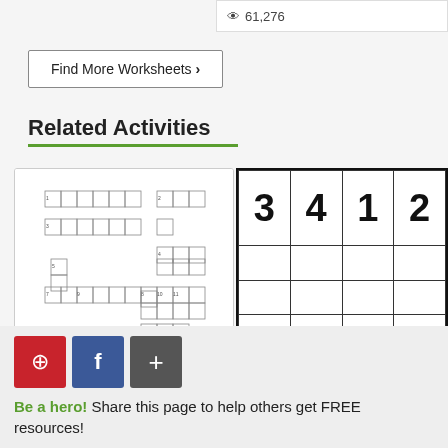👁 61,276
Find More Worksheets ›
Related Activities
[Figure (illustration): Crossword puzzle grid thumbnail]
[Figure (table-as-image): 4x4 number grid (Sudoku-style) showing numbers 3,4,1,2 in first row, empty second and third rows, and partial fourth row showing 4,2,2,1]
Be a hero! Share this page to help others get FREE resources!